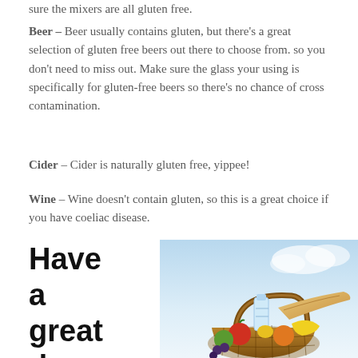sure the mixers are all gluten free.
Beer – Beer usually contains gluten, but there's a great selection of gluten free beers out there to choose from. so you don't need to miss out. Make sure the glass your using is specifically for gluten-free beers so there's no chance of cross contamination.
Cider – Cider is naturally gluten free, yippee!
Wine – Wine doesn't contain gluten, so this is a great choice if you have coeliac disease.
Have a great day
[Figure (photo): A picnic basket filled with bread, fruits, vegetables and a water bottle against a blue sky background]